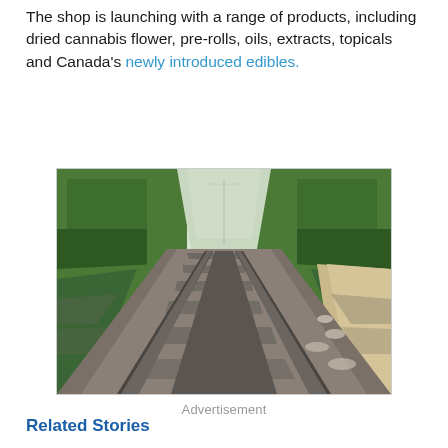The shop is launching with a range of products, including dried cannabis flower, pre-rolls, oils, extracts, topicals and Canada's newly introduced edibles.
[Figure (photo): A perspective view down a straight railway track surrounded by green trees and vegetation on both sides, taken from the front of a moving train.]
Advertisement
Related Stories